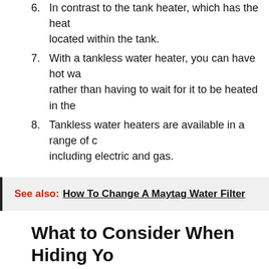6. In contrast to the tank heater, which has the heat located within the tank.
7. With a tankless water heater, you can have hot wa rather than having to wait for it to be heated in the
8. Tankless water heaters are available in a range of c including electric and gas.
See also:  How To Change A Maytag Water Filter
What to Consider When Hiding Yo Heater
When you turn on the tap on an outdoor tankless wa water is heated immediately by gas burners. This is in heater, which has heating components built into the Consequently, cold water enters the tank by a dip tu